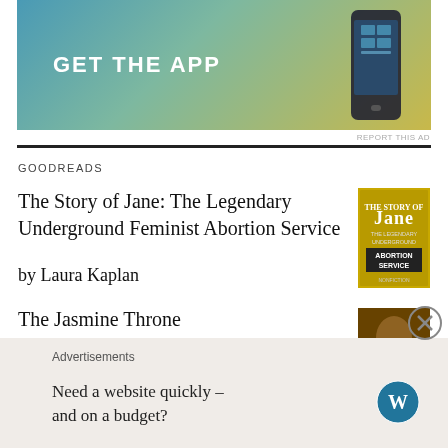[Figure (screenshot): App advertisement banner with gradient background (teal to gold) showing 'GET THE APP' text and a phone graphic]
REPORT THIS AD
GOODREADS
The Story of Jane: The Legendary Underground Feminist Abortion Service
by Laura Kaplan
[Figure (photo): Book cover of 'The Story of Jane: The Legendary Underground Feminist Abortion Service']
The Jasmine Throne
by Tasha Suri
[Figure (photo): Book cover of 'The Jasmine Throne' by Tasha Suri]
One of the best and most beautifully written books I've read this year. You need to read it.
Advertisements
Need a website quickly – and on a budget?